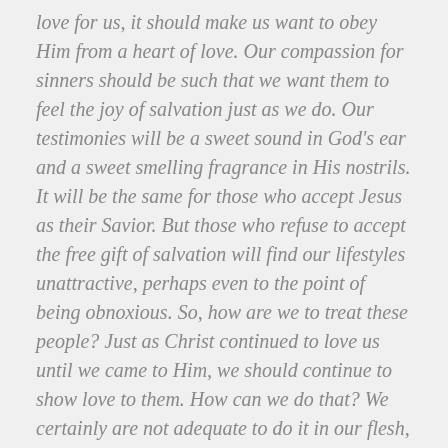love for us, it should make us want to obey Him from a heart of love. Our compassion for sinners should be such that we want them to feel the joy of salvation just as we do. Our testimonies will be a sweet sound in God's ear and a sweet smelling fragrance in His nostrils. It will be the same for those who accept Jesus as their Savior. But those who refuse to accept the free gift of salvation will find our lifestyles unattractive, perhaps even to the point of being obnoxious. So, how are we to treat these people? Just as Christ continued to love us until we came to Him, we should continue to show love to them. How can we do that? We certainly are not adequate to do it in our flesh, so we have to allow God to do it through us
.John 15:1-5 NLT